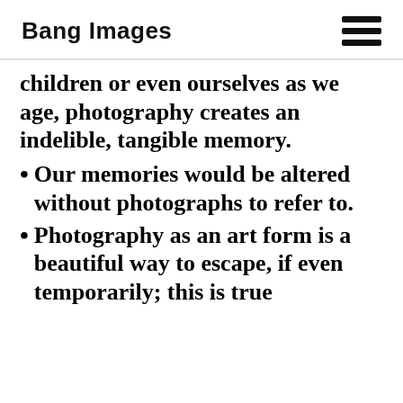Bang Images
children or even ourselves as we age, photography creates an indelible, tangible memory.
Our memories would be altered without photographs to refer to.
Photography as an art form is a beautiful way to escape, if even temporarily; this is true